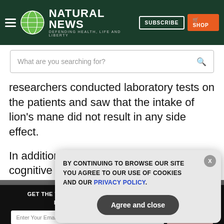[Figure (screenshot): Natural News website header with logo, Subscribe and Shop buttons]
[Figure (screenshot): Search bar with placeholder text 'What are you searching for?']
researchers conducted laboratory tests on the patients and saw that the intake of lion's mane did not result in any side effect.
In addition, the patients' scores in the cognitive function
GET THE WORLD'S BEST NATURAL HEALTH NEWSLETTER DELIVERED STRAIGHT TO YOUR INBOX.
BY CONTINUING TO BROWSE OUR SITE YOU AGREE TO OUR USE OF COOKIES AND OUR PRIVACY POLICY.
Agree and close